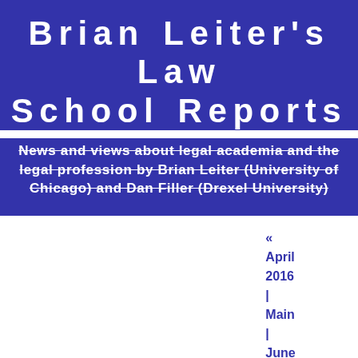Brian Leiter's Law School Reports
News and views about legal academia and the legal profession by Brian Leiter (University of Chicago) and Dan Filler (Drexel University)
« April 2016 | Main | June 2016 »
May 31, 2016
Twenty Most-